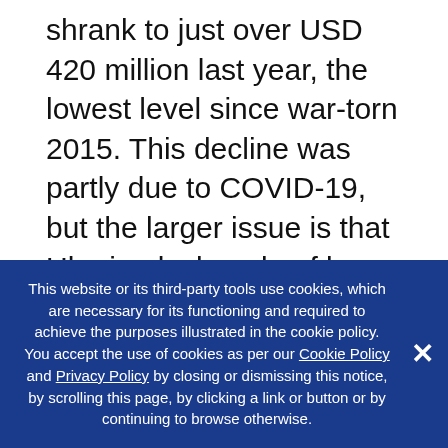shrank to just over USD 420 million last year, the lowest level since war-torn 2015. This decline was partly due to COVID-19, but the larger issue is that Ukraine lacks rule of law and protections for foreign investors. Taking care of the needs of existing investors, preventing them from being raided by oligarchs, and punishing attempts by corrupt officials to extort these investors for bribes should be the real focus of the authorities. This would be far more effective than tone-deaf platitudes that Ukraine is open to new investors. In other words, fix the problems existing investors are experiencing
This website or its third-party tools use cookies, which are necessary for its functioning and required to achieve the purposes illustrated in the cookie policy. You accept the use of cookies as per our Cookie Policy and Privacy Policy by closing or dismissing this notice, by scrolling this page, by clicking a link or button or by continuing to browse otherwise.